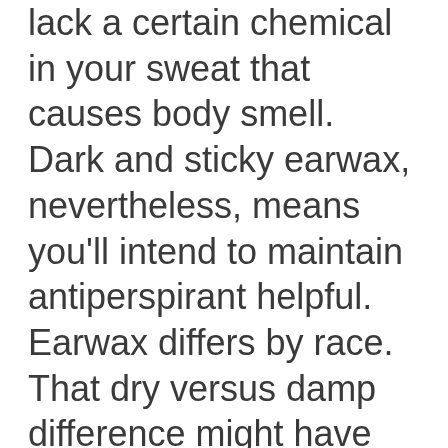lack a certain chemical in your sweat that causes body smell. Dark and sticky earwax, nevertheless, means you'll intend to maintain antiperspirant helpful. Earwax differs by race. That dry versus damp difference might have something to do with your forefathers, according to a recent study. Monell Center scientists found that, like with sweat, chemical substances in earwax differ in between the races, and the molecules that generate an odour are generally higher in